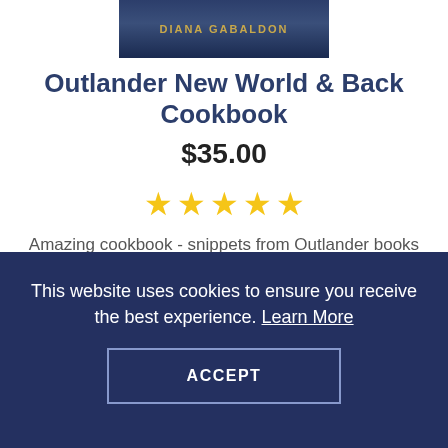[Figure (photo): Partial book cover showing 'DIANA GABALDON' text on dark blue background with gold lettering]
Outlander New World & Back Cookbook
$35.00
[Figure (other): Five gold star rating icons]
Amazing cookbook - snippets from Outlander books accompany each recipe. Over 100 recipes with great photos. 325 page...
[Figure (other): BUY NOW button - dark red/crimson rectangle with white bold text]
[Figure (photo): Partial book cover showing OUTLANDER text with red and green decorative background]
This website uses cookies to ensure you receive the best experience. Learn More
ACCEPT